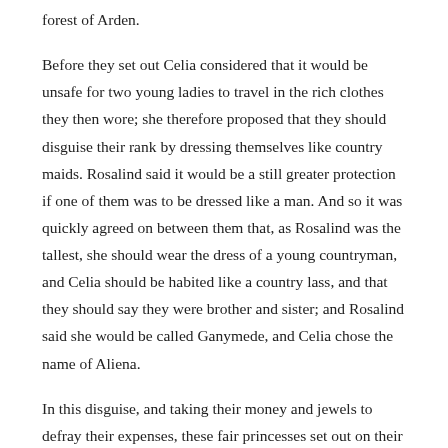forest of Arden.
Before they set out Celia considered that it would be unsafe for two young ladies to travel in the rich clothes they then wore; she therefore proposed that they should disguise their rank by dressing themselves like country maids. Rosalind said it would be a still greater protection if one of them was to be dressed like a man. And so it was quickly agreed on between them that, as Rosalind was the tallest, she should wear the dress of a young countryman, and Celia should be habited like a country lass, and that they should say they were brother and sister; and Rosalind said she would be called Ganymede, and Celia chose the name of Aliena.
In this disguise, and taking their money and jewels to defray their expenses, these fair princesses set out on their long travel; for the forest of Arden was a long way off, beyond the boundaries of the duke's dominions.
The lady Rosalind (or Ganymede, as she must now be called) with